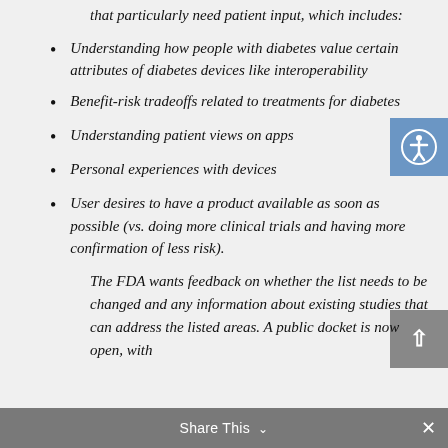that particularly need patient input, which includes:
Understanding how people with diabetes value certain attributes of diabetes devices like interoperability
Benefit-risk tradeoffs related to treatments for diabetes
Understanding patient views on apps
Personal experiences with devices
User desires to have a product available as soon as possible (vs. doing more clinical trials and having more confirmation of less risk).
The FDA wants feedback on whether the list needs to be changed and any information about existing studies that can address the listed areas. A public docket is now open, with